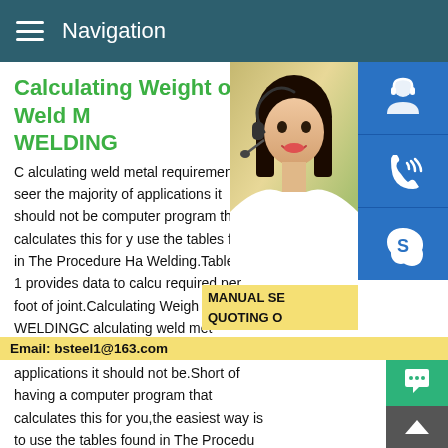Navigation
Calculating Weight of Weld M WELDING
C alculating weld metal requirements seem the majority of applications it should not be computer program that calculates this for y use the tables found in The Procedure Ha Welding.Table 12-1 provides data to calcu required per foot of joint.Calculating Weigh Required WELDINGC alculating weld met complicated but for the majority of applications it should not be.Short of having a computer program that calculates this for you,the easiest way is to use the tables found in The Procedure Handbook of Arc Welding.Table 12-1 provides data to calculate weight of weld metal required per foot of joint.Basic catalogue Standards,dimensions and gradesSteel pipes seamless acc.to
[Figure (photo): Woman with headset smiling, customer service representative]
[Figure (infographic): Side icons: headset/support, phone, Skype; popup showing MANUAL SE, QUOTING O, Email: bsteel1@163.com; chat button and scroll-to-top button]